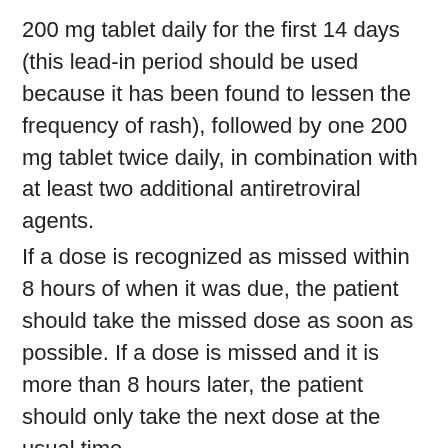200 mg tablet daily for the first 14 days (this lead-in period should be used because it has been found to lessen the frequency of rash), followed by one 200 mg tablet twice daily, in combination with at least two additional antiretroviral agents.
If a dose is recognized as missed within 8 hours of when it was due, the patient should take the missed dose as soon as possible. If a dose is missed and it is more than 8 hours later, the patient should only take the next dose at the usual time.
Dose management considerations
Patients experiencing rash during the 14-day lead-in period of 200 mg/day should not have their Wei Le Si dose increased until the rash